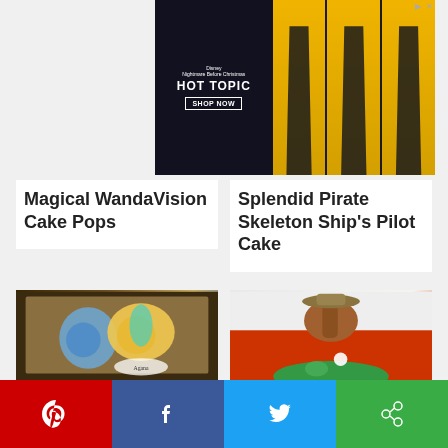[Figure (screenshot): Hot Topic Disney advertisement banner with dark background showing 'Nightmare Before Christmas' text, 'HOT TOPIC' logo, 'SHOP NOW' button, and three women wearing green and black outfits on yellow background panels]
Magical WandaVision Cake Pops
Splendid Pirate Skeleton Ship's Pilot Cake
[Figure (photo): Aladdin and Jasmine themed decorated cookies in a box with Jasmine character cookie and blue heart-shaped cookies, with a logo sticker reading 'Agana']
[Figure (photo): Flying Captain Caveman Cake - a cake decorated with Captain Caveman character flying, with green frosting base on an orange/red surface]
Wonderful Aladdin & Jasmine Cookie Box
Flying Captain Caveman Cake
by shareaholic
[Figure (infographic): Social sharing bar with four buttons: Pinterest (red), Facebook (dark blue), Twitter (light blue), Shareaholic (green)]